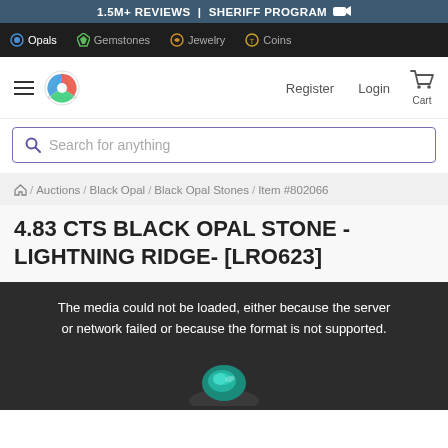1.5M+ REVIEWS  |  SHERIFF PROGRAM 🎥
Opals  Gemstones  Jewelry  Coins
Register  Login  Cart
Search for anything
🏠 / Auctions / Black Opal / Black Opal Stones / Item #802066
4.83 CTS BLACK OPAL STONE - LIGHTNING RIDGE- [LRO623]
[Figure (photo): Dark background with opal stone visible partially, overlaid with error message: 'The media could not be loaded, either because the server or network failed or because the format is not supported.']